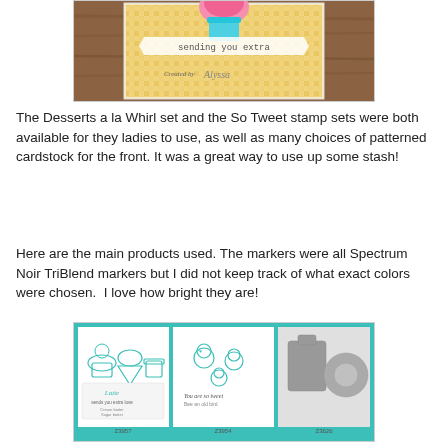[Figure (photo): A handmade greeting card on a wooden surface with a gingham background, featuring dessert/ice cream images, text 'sending you extra' on a banner, and 'Created by Alyssa' handwritten at the bottom.]
The Desserts a la Whirl set and the So Tweet stamp sets were both available for they ladies to use, as well as many choices of patterned cardstock for the front. It was a great way to use up some stash!
Here are the main products used. The markers were all Spectrum Noir TriBlend markers but I did not keep track of what exact colors were chosen.  I love how bright they are!
[Figure (photo): Product image showing three stamp/die sets with teal border: Z3957 (dessert stamps with cupcakes and latte), Z3954 (So Tweet bird stamps), and Z3626 (die cuts with rectangular and circular shapes).]